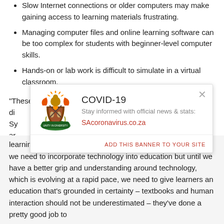Slow Internet connections or older computers may make gaining access to learning materials frustrating.
Managing computer files and online learning software can be too complex for students with beginner-level computer skills.
Hands-on or lab work is difficult to simulate in a virtual classroom.
“These are just a few of the generic advantages and disadvantages of online learning. South Africa has its own unique challenges and advantages and they need to be addressed and considered when choosing the educational system that best suits the learner and their circumstances.”
[Figure (infographic): South Africa COVID-19 information banner overlay with coat of arms logo. Title: COVID-19. Subtitle: Stay informed with official news & stats:. Link: SAcoronavirus.co.za. Footer: ADD THIS BANNER TO YOUR SITE. Close button (X) in top right.]
Computers can be a brilliant aid to teaching, and we need to incorporate technology into education but until we have a better grip and understanding around technology, which is evolving at a rapid pace, we need to give learners an education that’s grounded in certainty – textbooks and human interaction should not be underestimated – they’ve done a pretty good job to